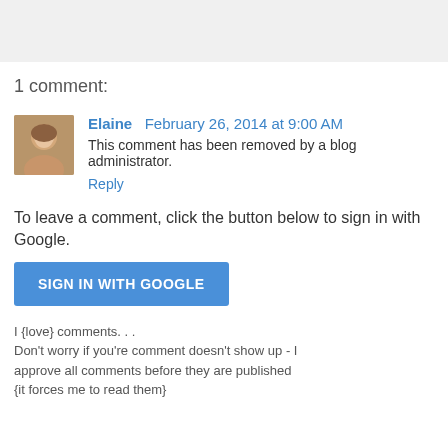[Figure (other): Gray banner/header bar at top of page]
1 comment:
Elaine  February 26, 2014 at 9:00 AM
This comment has been removed by a blog administrator.
Reply
To leave a comment, click the button below to sign in with Google.
[Figure (other): Blue SIGN IN WITH GOOGLE button]
I {love} comments. . .
Don't worry if you're comment doesn't show up - I approve all comments before they are published {it forces me to read them}